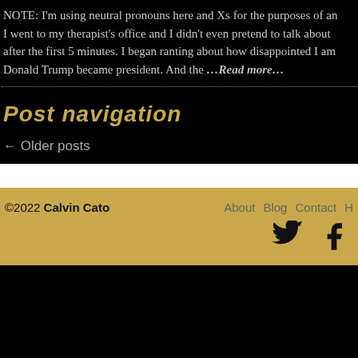NOTE: I'm using neutral pronouns here and Xs for the purposes of an I went to my therapist's office and I didn't even pretend to talk about after the first 5 minutes. I began ranting about how disappointed I am Donald Trump became president. And the ...Read more...
Post navigation
← Older posts
©2022 Calvin Cato   About   Blog   Contact   H